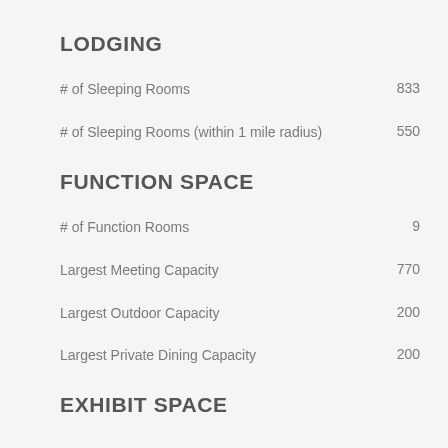LODGING
# of Sleeping Rooms
# of Sleeping Rooms (within 1 mile radius)
FUNCTION SPACE
# of Function Rooms
Largest Meeting Capacity
Largest Outdoor Capacity
Largest Private Dining Capacity
EXHIBIT SPACE